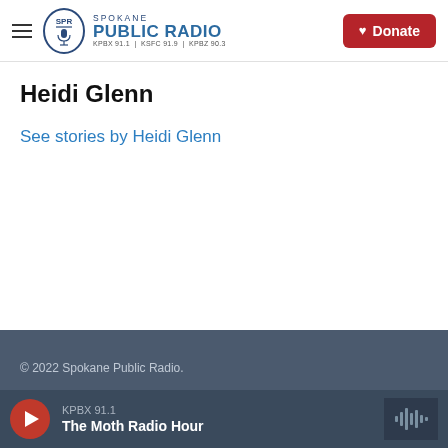Spokane Public Radio — KPBX 91.1 | KSFC 91.9 | KPBZ 90.3 — Donate
Heidi Glenn
See stories by Heidi Glenn
© 2022 Spokane Public Radio.
KPBX 91.1 — The Moth Radio Hour